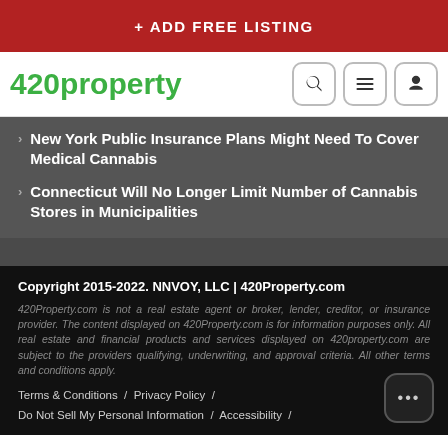+ ADD FREE LISTING
[Figure (logo): 420property green logo with navigation icons (search, menu, user)]
New York Public Insurance Plans Might Need To Cover Medical Cannabis
Connecticut Will No Longer Limit Number of Cannabis Stores in Municipalities
Copyright 2015-2022. NNVOY, LLC | 420Property.com
420Property.com is not a real estate agent or broker, lender, creditor, or insurance provider. The content displayed on 420Property.com is for information purposes only. All real estate and financial products and services displayed on 420property.com are subject to the providers qualifying, underwriting, and approval criteria. All other terms and conditions apply.
Terms & Conditions / Privacy Policy / Do Not Sell My Personal Information / Accessibility /